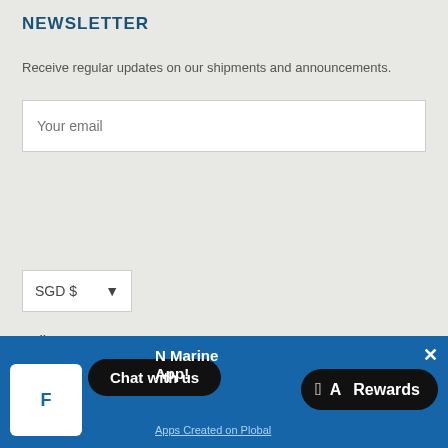NEWSLETTER
Receive regular updates on our shipments and announcements.
Your email
Subscribe
SGD $
Follow Us
[Figure (screenshot): Bottom bar with chat widget, app logo, N Marine App text, Chat with us button, Rewards button with Apple icon, Apps Created on Plobal link, and close button]
Chat with us
N Marine
App!
Rewards
Apps Created on Plobal